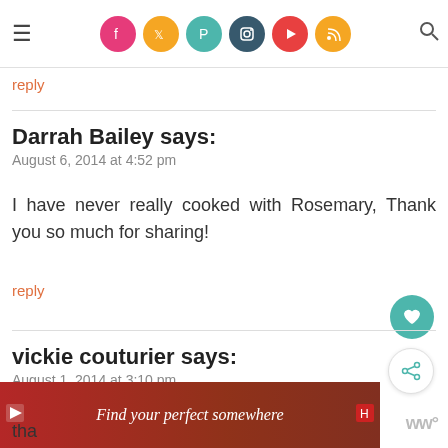Navigation bar with hamburger menu, social media icons (Facebook, Twitter, Pinterest, Instagram, YouTube, RSS), and search icon
reply
Darrah Bailey says:
August 6, 2014 at 4:52 pm
I have never really cooked with Rosemary, Thank you so much for sharing!
reply
vickie couturier says:
August 1, 2014 at 3:10 pm
[Figure (screenshot): Advertisement banner: red background with text 'Find your perfect somewhere' and a background image of people around a table]
tha